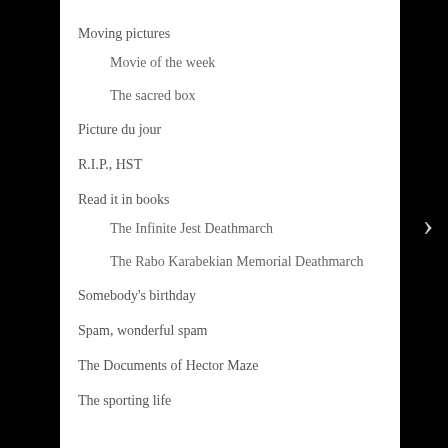Moving pictures
Movie of the week
The sacred box
Picture du jour
R.I.P., HST
Read it in books
The Infinite Jest Deathmarch
The Rabo Karabekian Memorial Deathmarch
Somebody's birthday
Spam, wonderful spam
The Documents of Hector Maze
The sporting life